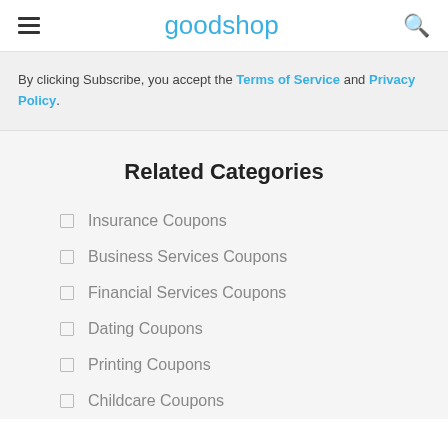goodshop
By clicking Subscribe, you accept the Terms of Service and Privacy Policy.
Related Categories
Insurance Coupons
Business Services Coupons
Financial Services Coupons
Dating Coupons
Printing Coupons
Childcare Coupons